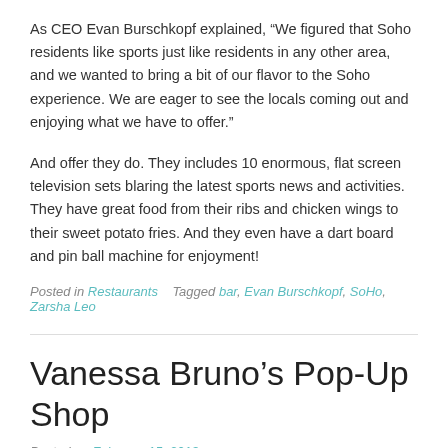As CEO Evan Burschkopf explained, “We figured that Soho residents like sports just like residents in any other area, and we wanted to bring a bit of our flavor to the Soho experience. We are eager to see the locals coming out and enjoying what we have to offer.”
And offer they do. They includes 10 enormous, flat screen television sets blaring the latest sports news and activities. They have great food from their ribs and chicken wings to their sweet potato fries. And they even have a dart board and pin ball machine for enjoyment!
Posted in Restaurants   Tagged bar, Evan Burschkopf, SoHo, Zarsha Leo
Vanessa Bruno’s Pop-Up Shop
Posted on February 15, 2013